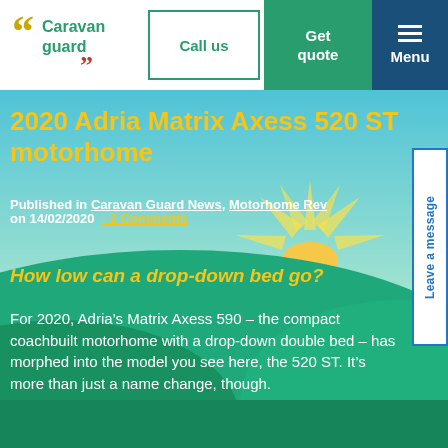[Figure (logo): Caravan Guard logo with speech mark icons in gold/red and green text]
Call us
Get quote
Menu
[Figure (illustration): Green landscape hero background with blue sky, sunrays and rolling hills]
2020 Adria Matrix Axess 520 ST motorhome
Published in Caravan Guard News, Motorhome Rev on 14/02/2020  - 2 Comments
How low can a drop-down bed go?
For 2020, Adria’s Matrix Axess 590 – the compact coachbuilt motorhome with a drop-down double bed – has morphed into the model you see here, the 520 ST. It’s more than just a name change, though.